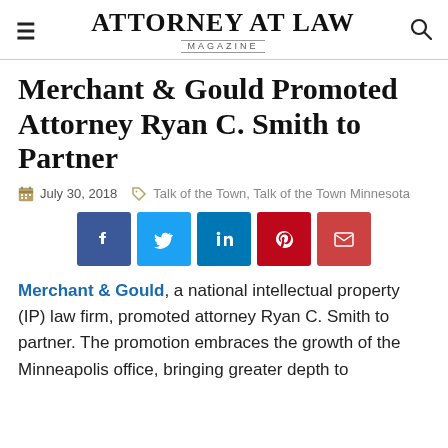ATTORNEY AT LAW MAGAZINE
Merchant & Gould Promoted Attorney Ryan C. Smith to Partner
July 30, 2018   Talk of the Town, Talk of the Town Minnesota
[Figure (infographic): Social media share buttons: Facebook, Twitter, LinkedIn, Pinterest, Email]
Merchant & Gould, a national intellectual property (IP) law firm, promoted attorney Ryan C. Smith to partner. The promotion embraces the growth of the Minneapolis office, bringing greater depth to